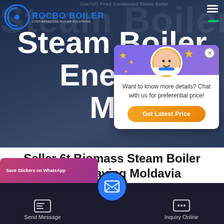[Figure (screenshot): Hero banner of ROCBO BOILER website showing 'Steam Boiler Energy Mo...' large white text on dark blue background, with logo top left, hamburger menu top right, and a chat popup overlay showing an agent image with stars decoration, 'Want to know more details? Chat with us for preferential price!' text, and 'Get Latest Price' orange button.]
Seller 6t Biomass Steam Boiler Energy Saving Moldavia
[Figure (screenshot): Website footer bar with dark background showing 'Save Stickers on WhatsApp' pink card at bottom-left, Send Message icon button on left, central blue circle email/message icon, and Inquiry Online icon button on right.]